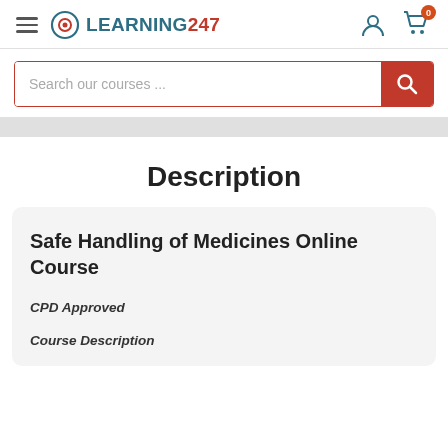LEARNING247
[Figure (screenshot): Search bar with placeholder text 'Search our courses ...' and an orange search button with magnifying glass icon]
Description
Safe Handling of Medicines Online Course
CPD Approved
Course Description